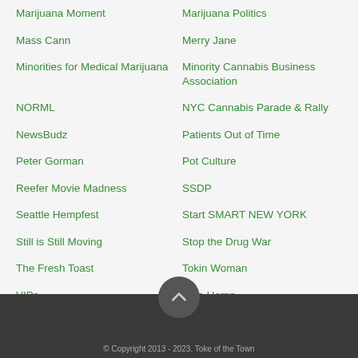Marijuana Moment
Marijuana Politics
Mass Cann
Merry Jane
Minorities for Medical Marijuana
Minority Cannabis Business Association
NORML
NYC Cannabis Parade & Rally
NewsBudz
Patients Out of Time
Peter Gorman
Pot Culture
Reefer Movie Madness
SSDP
Seattle Hempfest
Start SMART NEW YORK
Still is Still Moving
Stop the Drug War
The Fresh Toast
Tokin Woman
VIPs
Vote Hemp
Weedmaps News
Willie Nelson
Willie Nelson's Teapot Party
Women Grow
© Copyright 2013 - 2023. Toke of the Town